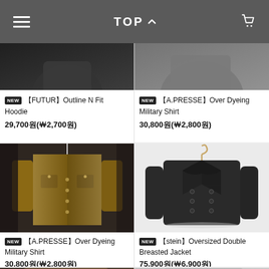TOP
[NEW] [FUTUR]Outline N Fit Hoodie 29,700원(포2,700원)
[NEW] [A.PRESSE]Over Dyeing Military Shirt 30,800원(포2,800원)
[Figure (photo): Brown corduroy military-style shirt hanging on a hanger]
[NEW] [A.PRESSE]Over Dyeing Military Shirt 30,800원(포2,800원)
[Figure (photo): Dark navy/black oversized double breasted jacket hanging on a wooden hanger against white wall]
[NEW] [stein]Oversized Double Breasted Jacket 75,900원(포6,900원)